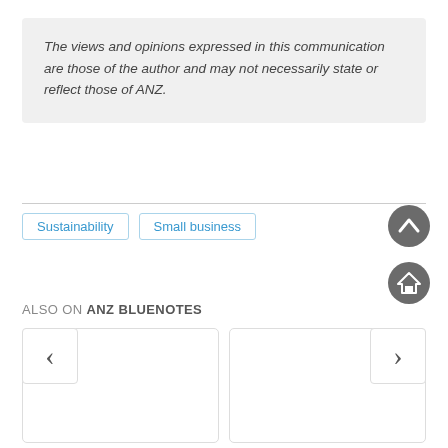The views and opinions expressed in this communication are those of the author and may not necessarily state or reflect those of ANZ.
Sustainability
Small business
ALSO ON ANZ BLUENOTES
[Figure (other): Two article cards with left and right navigation arrows for a carousel]
[Figure (other): Up arrow navigation button (scroll to top)]
[Figure (other): Home navigation button]